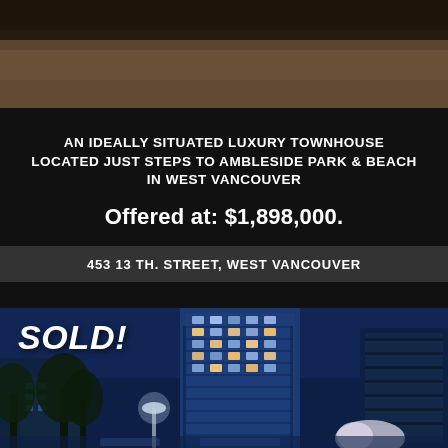[Figure (photo): Top photo showing sandy ground with a bird and some grass/reeds, dark earthy tones]
AN IDEALLY SITUATED LUXURY TOWNHOUSE LOCATED JUST STEPS TO AMBLESIDE PARK & BEACH IN WEST VANCOUVER
Offered at: $1,898,000.
453 13 TH. STREET, WEST VANCOUVER
[Figure (photo): Night photo of a tall modern glass condominium tower lit up in blue tones, with trees and street lights in the foreground, SOLD! overlay text]
SOLD!